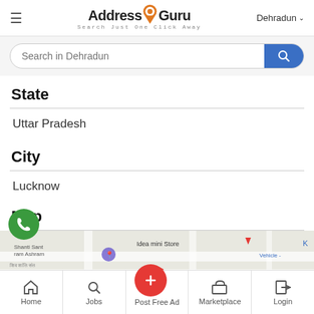AddressGuru — Search Just One Click Away | Dehradun
Search in Dehradun
State
Uttar Pradesh
City
Lucknow
Map
[Figure (map): Street map preview showing Shanti Sant Ram Ashram, Shiv Shanti Sant Ashram, Idea mini Store, Vaikunth Dham, Vehicle area]
Home | Jobs | Post Free Ad | Marketplace | Login